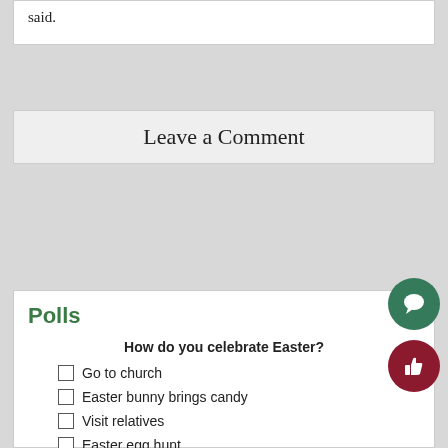said.
Leave a Comment
Polls
How do you celebrate Easter?
Go to church
Easter bunny brings candy
Visit relatives
Easter egg hunt